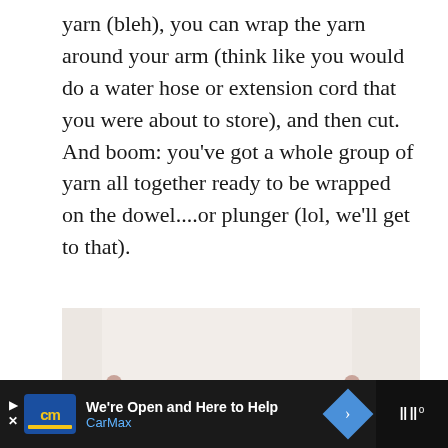yarn (bleh), you can wrap the yarn around your arm (think like you would do a water hose or extension cord that you were about to store), and then cut. And boom: you've got a whole group of yarn all together ready to be wrapped on the dowel....or plunger (lol, we'll get to that).
[Figure (photo): Photo of a wall hanging display mounted on a horizontal rod/dowel attached to a white wall, showing multiple strands of yarn in dark gray, light pink/peach, and white colors hanging vertically down.]
We're Open and Here to Help | CarMax [Advertisement bar]